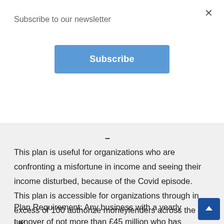Subscribe to our newsletter
Subscribe
This plan is useful for organizations who are confronting a misfortune in income and seeing their income disturbed, because of the Covid episode. This plan is accessible for organizations through in excess of 100 authorize moneylenders across the UK.
Plan Requirement: Any business with a yearly turnover of not more than £45 million who has been disturbed in light of